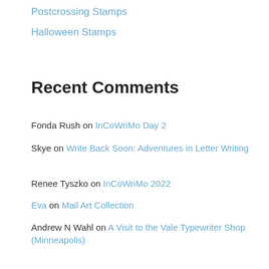Postcrossing Stamps
Halloween Stamps
Recent Comments
Fonda Rush on InCoWriMo Day 2
Skye on Write Back Soon: Adventures in Letter Writing
Renee Tyszko on InCoWriMo 2022
Eva on Mail Art Collection
Andrew N Wahl on A Visit to the Vale Typewriter Shop (Minneapolis)